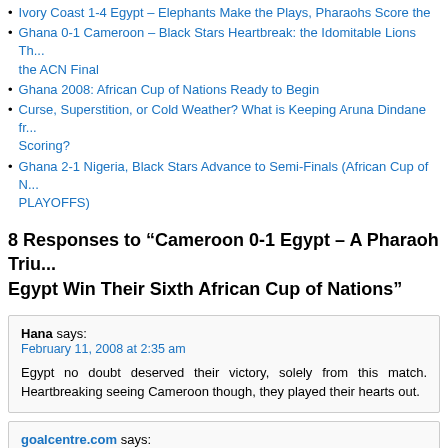Ivory Coast 1-4 Egypt – Elephants Make the Plays, Pharaohs Score the
Ghana 0-1 Cameroon – Black Stars Heartbreak: the Idomitable Lions Th... the ACN Final
Ghana 2008: African Cup of Nations Ready to Begin
Curse, Superstition, or Cold Weather? What is Keeping Aruna Dindane fr... Scoring?
Ghana 2-1 Nigeria, Black Stars Advance to Semi-Finals (African Cup of N... PLAYOFFS)
8 Responses to “Cameroon 0-1 Egypt – A Pharaoh Triu... Egypt Win Their Sixth African Cup of Nations”
Hana says:
February 11, 2008 at 2:35 am
Egypt no doubt deserved their victory, solely from this match. Heartbreaking seeing Cameroon though, they played their hearts out.
goalcentre.com says:
February 11, 2008 at 5:21 am
Congratulations to Egypt to defend their title this year.